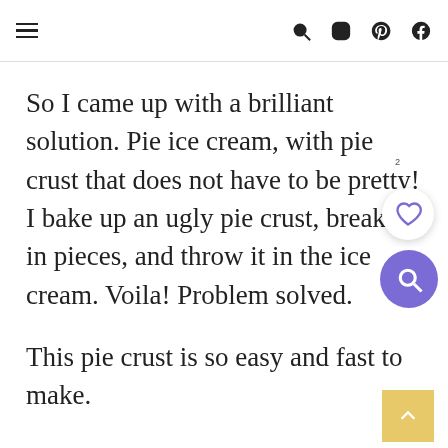≡  🔍 📷 ⊗ f
So I came up with a brilliant solution. Pie ice cream, with pie crust that does not have to be pretty! I bake up an ugly pie crust, break it in pieces, and throw it in the ice cream. Voila! Problem solved.
This pie crust is so easy and fast to make.